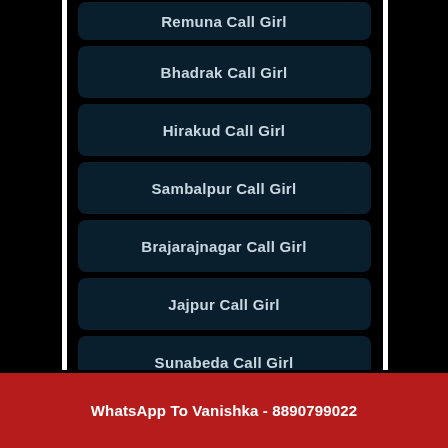Remuna Call Girl
Bhadrak Call Girl
Hirakud Call Girl
Sambalpur Call Girl
Brajarajnagar Call Girl
Jajpur Call Girl
Sunabeda Call Girl
Buguda Call Girl
[Figure (infographic): WhatsApp click to chat button with green icon and phone call button]
Call Vanishka Now - 8890799022
WhatsApp To Vanishka - 8890799022